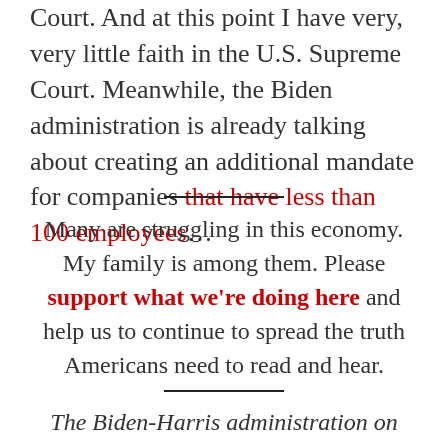Court. And at this point I have very, very little faith in the U.S. Supreme Court. Meanwhile, the Biden administration is already talking about creating an additional mandate for companies that have less than 100 employees…
Many are struggling in this economy. My family is among them. Please support what we're doing here and help us to continue to spread the truth Americans need to read and hear.
The Biden-Harris administration on